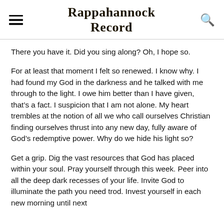Rappahannock Record
There you have it. Did you sing along? Oh, I hope so.
For at least that moment I felt so renewed. I know why. I had found my God in the darkness and he talked with me through to the light. I owe him better than I have given, that’s a fact. I suspicion that I am not alone. My heart trembles at the notion of all we who call ourselves Christian finding ourselves thrust into any new day, fully aware of God’s redemptive power. Why do we hide his light so?
Get a grip. Dig the vast resources that God has placed within your soul. Pray yourself through this week. Peer into all the deep dark recesses of your life. Invite God to illuminate the path you need trod. Invest yourself in each new morning until next